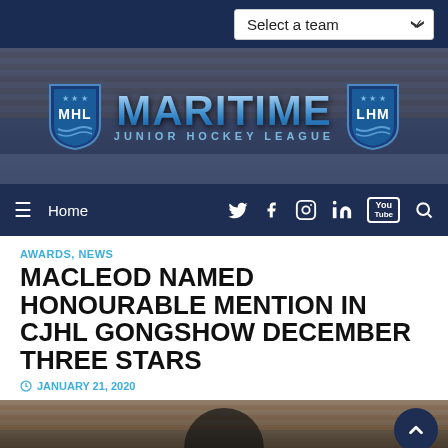Select a team
[Figure (logo): Maritime Junior Hockey League (MHL / LHM) banner logo with arena background]
Home
AWARDS, NEWS
MACLEOD NAMED HONOURABLE MENTION IN CJHL GONGSHOW DECEMBER THREE STARS
JANUARY 21, 2020
[Figure (photo): Hockey player photo at bottom of article page]